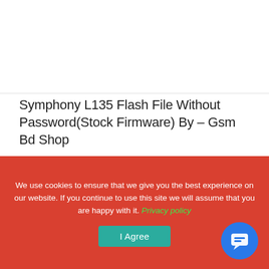[Figure (other): Top image area / banner placeholder (cropped screenshot of website with light gray background)]
Symphony L135 Flash File Without Password(Stock Firmware) By – Gsm Bd Shop
1 Comment
[Figure (screenshot): Comment box with Reply button and AUTHOR label with blue avatar icon]
We use cookies to ensure that we give you the best experience on our website. If you continue to use this site we will assume that you are happy with it. Privacy policy
I Agree